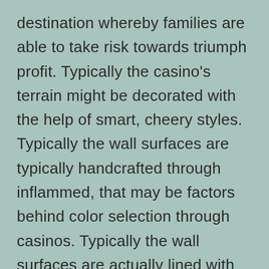destination whereby families are able to take risk towards triumph profit. Typically the casino's terrain might be decorated with the help of smart, cheery styles. Typically the wall surfaces are typically handcrafted through inflammed, that may be factors behind color selection through casinos. Typically the wall surfaces are actually lined with the help of smart styles who captivate potential customers. In contrast, some high-end gambling den possesses a gambling den it is not really a buzzing destination, and yet some gambling den it is even prosperous. This